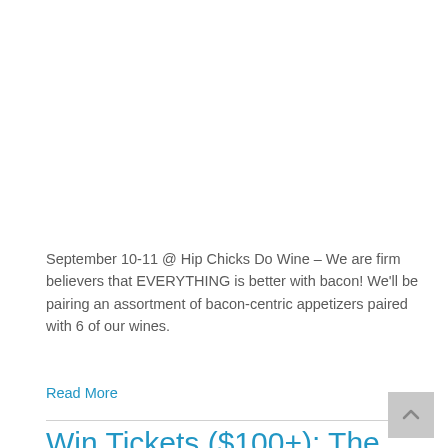September 10-11 @ Hip Chicks Do Wine – We are firm believers that EVERYTHING is better with bacon! We'll be pairing an assortment of bacon-centric appetizers paired with 6 of our wines.
Read More
Win Tickets ($100+): The Cheese